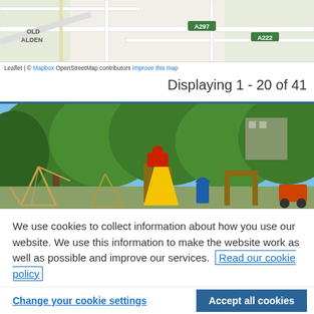[Figure (map): Street map showing area near Heath, Old Alden with road labels A297 and A222, with Leaflet/Mapbox/OpenStreetMap attribution]
Displaying 1 - 20 of 41
[Figure (photo): Outdoor playground with colourful play equipment including a yellow slide, climbing frames, surrounded by large green trees and buildings in background]
We use cookies to collect information about how you use our website. We use this information to make the website work as well as possible and improve our services.  Read our cookie policy
Change your cookie settings
Accept all cookies